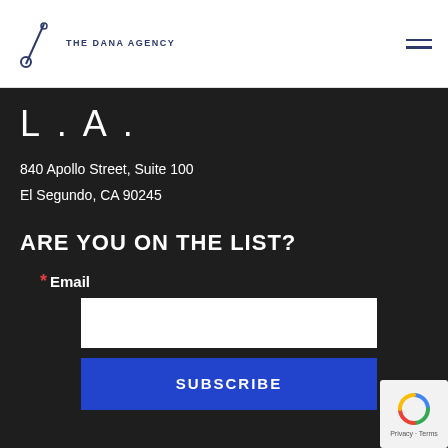THE DANA AGENCY
L . A .
840 Apollo Street, Suite 100
El Segundo, CA 90245
ARE YOU ON THE LIST?
* Email
[Figure (screenshot): reCAPTCHA badge with Privacy and Terms links]